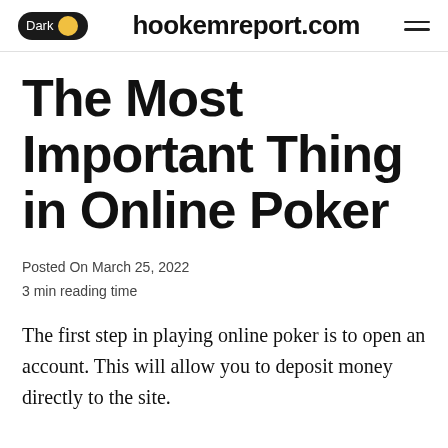Dark | hookemreport.com
The Most Important Thing in Online Poker
Posted On March 25, 2022
3 min reading time
The first step in playing online poker is to open an account. This will allow you to deposit money directly to the site.